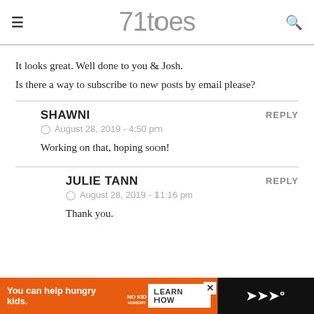71toes
It looks great. Well done to you & Josh.
Is there a way to subscribe to new posts by email please?
SHAWNI
August 28, 2019 - 4:50 pm
Working on that, hoping soon!
JULIE TANN
August 28, 2019 - 11:16 pm
Thank you.